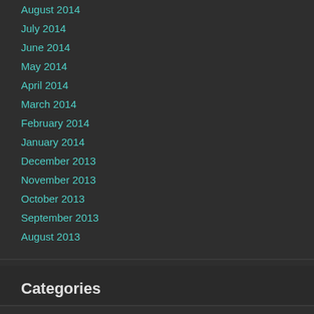August 2014
July 2014
June 2014
May 2014
April 2014
March 2014
February 2014
January 2014
December 2013
November 2013
October 2013
September 2013
August 2013
Categories
creativity and innovation